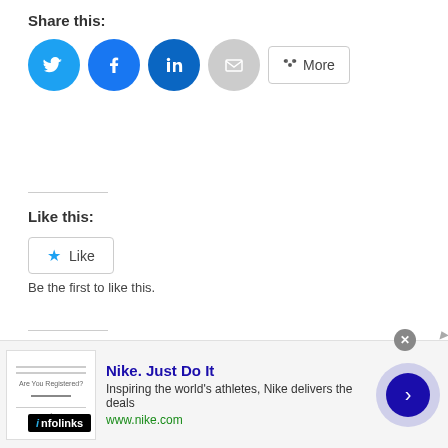Share this:
[Figure (infographic): Social share buttons: Twitter (blue circle), Facebook (blue circle), LinkedIn (dark blue circle), Email (grey circle), and a More button with share icon]
Like this:
[Figure (infographic): Like button with star icon]
Be the first to like this.
Related
[Figure (photo): Woman with glasses looking at camera]
[Figure (photo): Person holding a smartphone showing financial app]
[Figure (infographic): Infolinks advertisement badge and Nike ad banner with text 'Nike. Just Do It', 'Inspiring the world's athletes, Nike delivers the deals', 'www.nike.com']